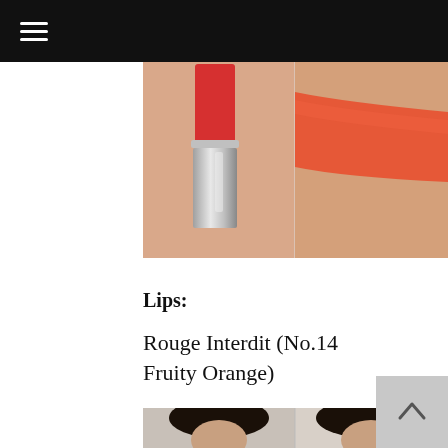☰
[Figure (photo): Left side shows a red lipstick (Rouge Interdit No.14 Fruity Orange) with silver casing, placed against a skin background. Right side shows an orange-red lipstick swatch swatched on skin.]
Lips:
Rouge Interdit (No.14 Fruity Orange)
[Figure (photo): Two women's faces partially visible at the bottom of the page.]